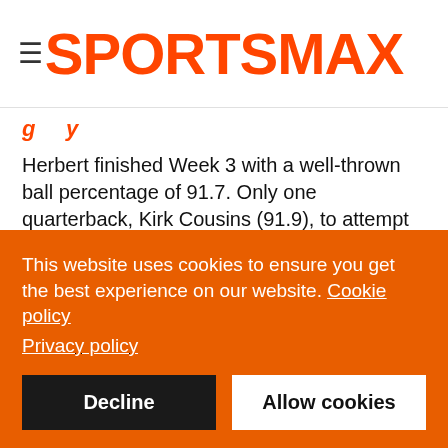SPORTSMAX
g y
Herbert finished Week 3 with a well-thrown ball percentage of 91.7. Only one quarterback, Kirk Cousins (91.9), to attempt more than one pass was superior in that regard going into Monday Night Football.
He did much of his best work when under pressure too, delivering a perfectly thrown jump pass to Keenan Allen for Los Angeles' opening touchdown with defensive tackle Khalen Saunders in his face, and putting a pass down the
This website uses cookies to ensure you get the best experience on our website. Cookie policy Privacy policy
Decline
Allow cookies